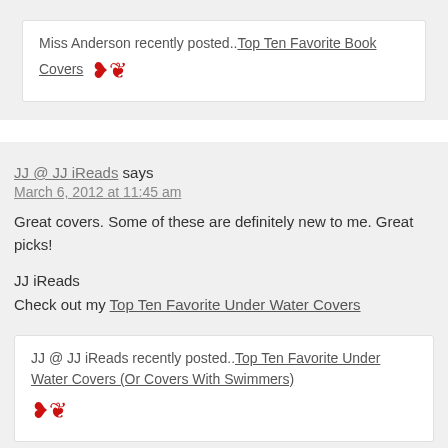Miss Anderson recently posted..Top Ten Favorite Book Covers 🦅
JJ @ JJ iReads says
March 6, 2012 at 11:45 am

Great covers. Some of these are definitely new to me. Great picks!

JJ iReads
Check out my Top Ten Favorite Under Water Covers
JJ @ JJ iReads recently posted..Top Ten Favorite Under Water Covers (Or Covers With Swimmers)